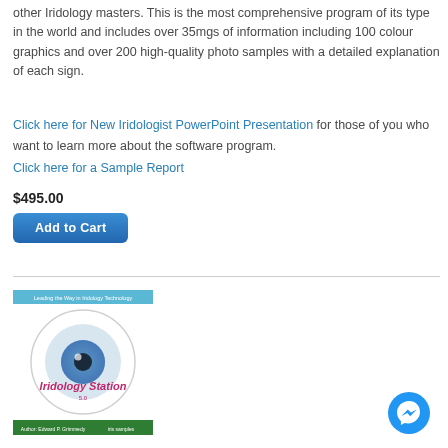other Iridology masters. This is the most comprehensive program of its type in the world and includes over 35mgs of information including 100 colour graphics and over 200 high-quality photo samples with a detailed explanation of each sign.
Click here for New Iridologist PowerPoint Presentation for those of you who want to learn more about the software program.
Click here for a Sample Report
$495.00
Add to Cart
[Figure (illustration): Book/software product cover for Iridology Station 5.0, showing an eye image with the title in pink/magenta text on a white circular background, with a blue banner at top and bottom.]
[Figure (logo): Blue circular Messenger app icon (Facebook Messenger) in bottom right corner.]